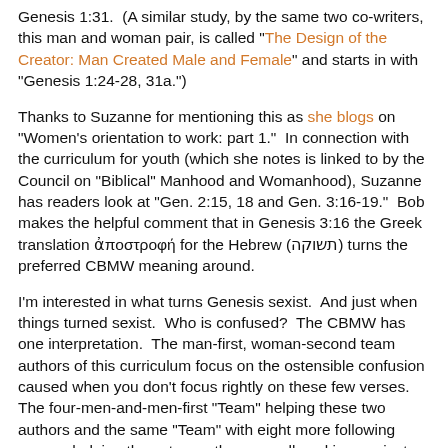Genesis 1:31.  (A similar study, by the same two co-writers, this man and woman pair, is called "The Design of the Creator: Man Created Male and Female" and starts in with "Genesis 1:24-28, 31a.")
Thanks to Suzanne for mentioning this as she blogs on "Women's orientation to work: part 1."  In connection with the curriculum for youth (which she notes is linked to by the Council on "Biblical" Manhood and Womanhood), Suzanne has readers look at "Gen. 2:15, 18 and Gen. 3:16-19."  Bob makes the helpful comment that in Genesis 3:16 the Greek translation ἀποστροφή for the Hebrew (תשוקה) turns the preferred CBMW meaning around.
I'm interested in what turns Genesis sexist.  And just when things turned sexist.  Who is confused?  The CBMW has one interpretation.  The man-first, woman-second team authors of this curriculum focus on the ostensible confusion caused when you don't focus rightly on these few verses.  The four-men-and-men-first "Team" helping these two authors and the same "Team" with eight more following women helping these two authors are all working against this confusion.  (Go